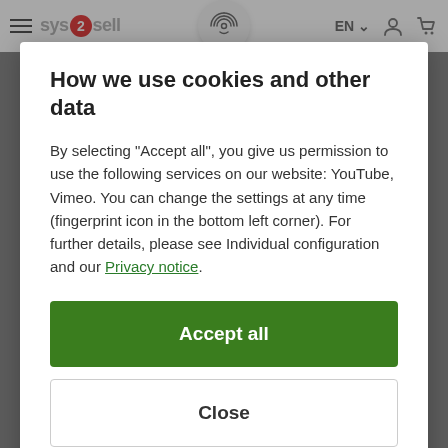sys2sell — EN — navigation bar with hamburger menu, logo, fingerprint icon, language selector, account icon, cart icon
How we use cookies and other data
By selecting "Accept all", you give us permission to use the following services on our website: YouTube, Vimeo. You can change the settings at any time (fingerprint icon in the bottom left corner). For further details, please see Individual configuration and our Privacy notice.
Accept all
Close
Configuration